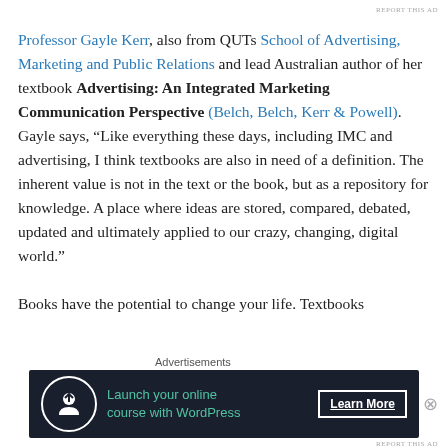REPORT THIS AD
Professor Gayle Kerr, also from QUTs School of Advertising, Marketing and Public Relations and lead Australian author of her textbook Advertising: An Integrated Marketing Communication Perspective (Belch, Belch, Kerr & Powell). Gayle says, “Like everything these days, including IMC and advertising, I think textbooks are also in need of a definition. The inherent value is not in the text or the book, but as a repository for knowledge. A place where ideas are stored, compared, debated, updated and ultimately applied to our crazy, changing, digital world.”
Books have the potential to change your life. Textbooks
[Figure (other): Advertisement banner: dark navy background with circular white-bordered icon showing a person/upload symbol, teal text reading 'Launch your online course with WordPress', and a white 'Learn More' button with underline.]
REPORT THIS AD